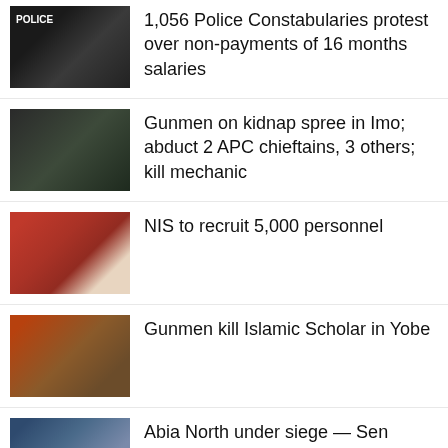1,056 Police Constabularies protest over non-payments of 16 months salaries
Gunmen on kidnap spree in Imo; abduct 2 APC chieftains, 3 others; kill mechanic
NIS to recruit 5,000 personnel
Gunmen kill Islamic Scholar in Yobe
Abia North under siege — Sen Ohuabunwa
Some policemen plotting to assassinate me, Dogara writes IGP
Enugu community raises alarm over alleged